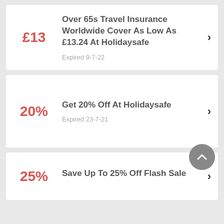£13 — Over 65s Travel Insurance Worldwide Cover As Low As £13.24 At Holidaysafe — Expired 9-7-22
20% — Get 20% Off At Holidaysafe — Expired 23-7-21
25% — Save Up To 25% Off Flash Sale